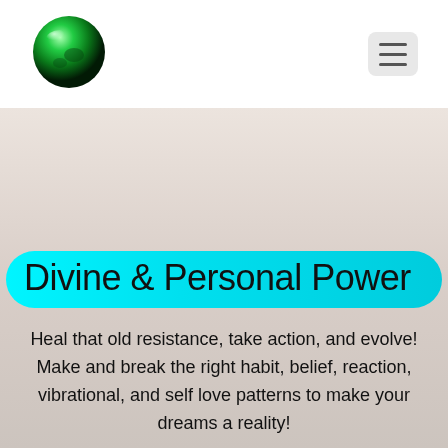[Figure (logo): Green reflective 3D sphere logo in the top-left of the navigation header]
[Figure (other): Hamburger menu icon (three horizontal lines) in a light gray rounded rectangle, top-right of the header]
[Figure (photo): Beige/taupe soft gradient background hero image filling the area below the header]
Divine & Personal Power
Heal that old resistance, take action, and evolve! Make and break the right habit, belief, reaction, vibrational, and self love patterns to make your dreams a reality!